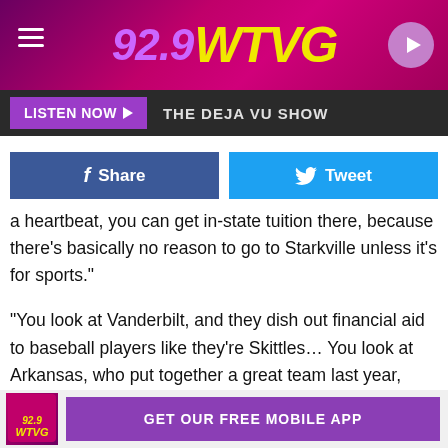[Figure (logo): 92.9 WTVG radio station header logo with purple/pink gradient background, hamburger menu on left, play button on right]
LISTEN NOW  THE DEJA VU SHOW
[Figure (infographic): Facebook Share button (blue) and Twitter Tweet button (cyan)]
a heartbeat, you can get in-state tuition there, because there's basically no reason to go to Starkville unless it's for sports."
“You look at Vanderbilt, and they dish out financial aid to baseball players like they’re Skittles… You look at Arkansas, who put together a great team last year, there are nine states that get in-state tuition at the University of Arkansas, so you start doing the math on it, we’re playing against teams that have almost twice the scholarship dollars than we do.”
GET OUR FREE MOBILE APP